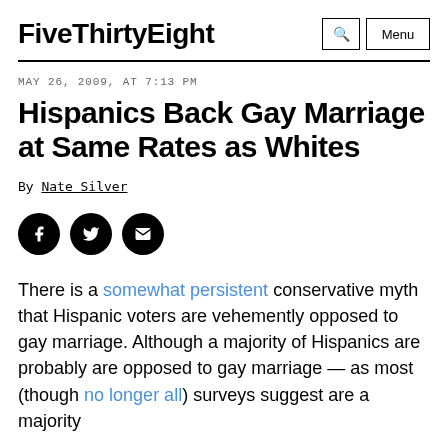FiveThirtyEight
MAY 26, 2009, AT 7:13 PM
Hispanics Back Gay Marriage at Same Rates as Whites
By Nate Silver
There is a somewhat persistent conservative myth that Hispanic voters are vehemently opposed to gay marriage. Although a majority of Hispanics are probably are opposed to gay marriage — as most (though no longer all) surveys suggest are a majority